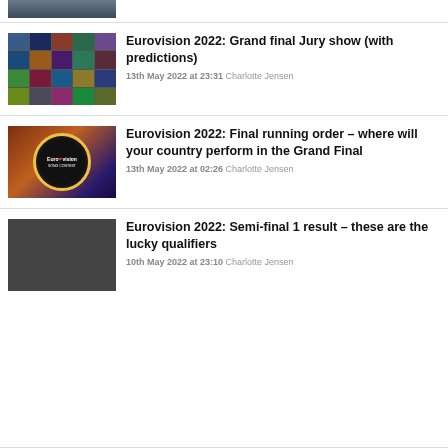[Figure (photo): Partial thumbnail of a mosaic of Eurovision performance screenshots at top of page]
[Figure (photo): Mosaic grid of Eurovision 2022 performance screenshots]
Eurovision 2022: Grand final Jury show (with predictions)
13th May 2022 at 23:31 Charlotte Jensen
[Figure (photo): Eurovision 2022 Grand Final logo on dark red and blue background]
Eurovision 2022: Final running order – where will your country perform in the Grand Final
13th May 2022 at 02:26 Charlotte Jensen
[Figure (photo): Mosaic grid of Eurovision 2022 semi-final performance screenshots]
Eurovision 2022: Semi-final 1 result – these are the lucky qualifiers
10th May 2022 at 23:10 Charlotte Jensen